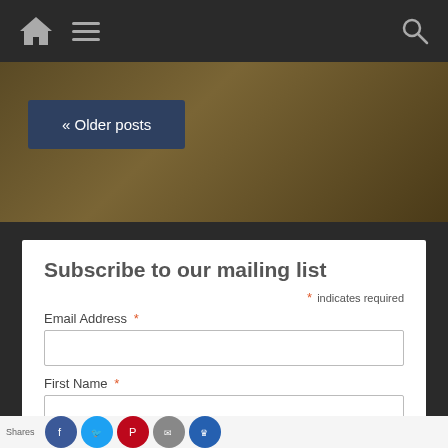Navigation bar with home icon, menu icon, and search icon
[Figure (screenshot): Brown gradient banner background area]
« Older posts
Subscribe to our mailing list
* indicates required
Email Address *
First Name *
Last Name *
Shares — social share icons: Facebook, Twitter, Pinterest, Email, Crown